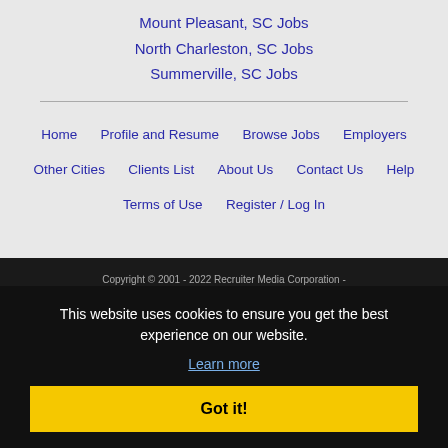Mount Pleasant, SC Jobs
North Charleston, SC Jobs
Summerville, SC Jobs
Home
Profile and Resume
Browse Jobs
Employers
Other Cities
Clients List
About Us
Contact Us
Help
Terms of Use
Register / Log In
Copyright © 2001 - 2022 Recruiter Media Corporation - Savannah Jobs
This website uses cookies to ensure you get the best experience on our website.
Learn more
Got it!